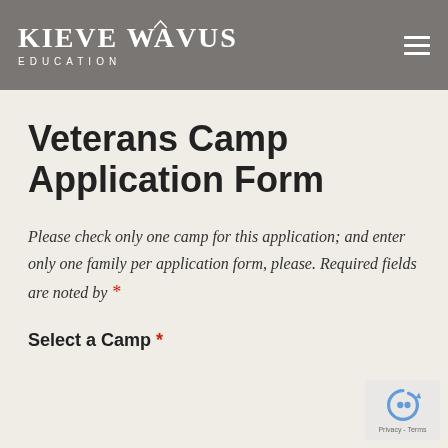Kieve Wavus Education
Veterans Camp Application Form
Please check only one camp for this application; and enter only one family per application form, please. Required fields are noted by *
Select a Camp *